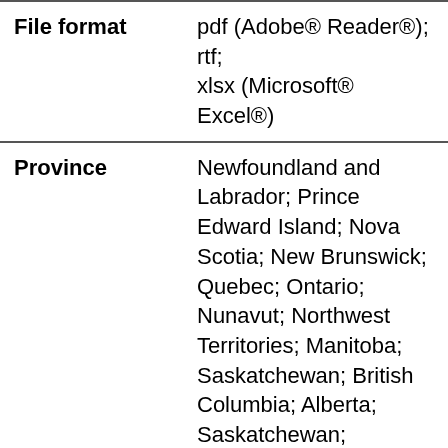| Field | Value |
| --- | --- |
| File format | pdf (Adobe® Reader®); rtf; xlsx (Microsoft® Excel®) |
| Province | Newfoundland and Labrador; Prince Edward Island; Nova Scotia; New Brunswick; Quebec; Ontario; Nunavut; Northwest Territories; Manitoba; Saskatchewan; British Columbia; Alberta; Saskatchewan; Manitoba; Ontario; Quebec; New Brunswick; Nova Scotia; Prince Edward Island; Newfoundland and Labrador; Northwest Territories; Yukon |